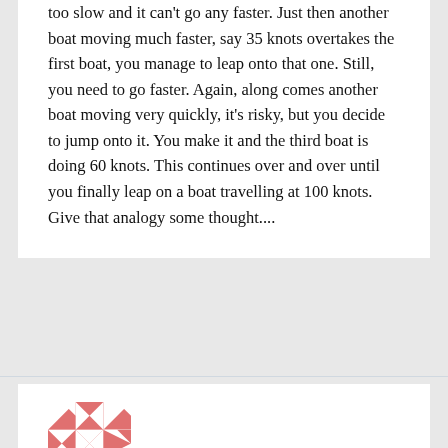too slow and it can't go any faster. Just then another boat moving much faster, say 35 knots overtakes the first boat, you manage to leap onto that one. Still, you need to go faster. Again, along comes another boat moving very quickly, it's risky, but you decide to jump onto it. You make it and the third boat is doing 60 knots. This continues over and over until you finally leap on a boat travelling at 100 knots. Give that analogy some thought....
[Figure (illustration): A pink and white geometric patterned avatar/profile image with angular zigzag and triangular shapes arranged in a square grid pattern.]